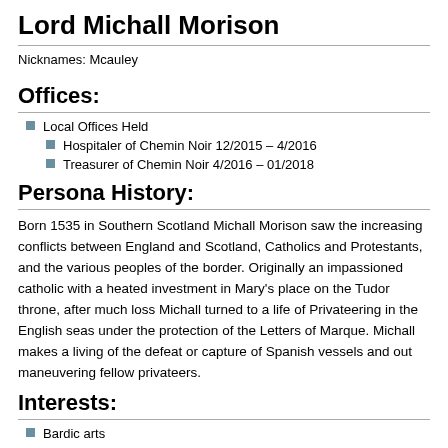Lord Michall Morison
Nicknames: Mcauley
Offices:
Local Offices Held
Hospitaler of Chemin Noir 12/2015 – 4/2016
Treasurer of Chemin Noir 4/2016 – 01/2018
Persona History:
Born 1535 in Southern Scotland Michall Morison saw the increasing conflicts between England and Scotland, Catholics and Protestants, and the various peoples of the border. Originally an impassioned catholic with a heated investment in Mary's place on the Tudor throne, after much loss Michall turned to a life of Privateering in the English seas under the protection of the Letters of Marque. Michall makes a living of the defeat or capture of Spanish vessels and out maneuvering fellow privateers.
Interests:
Bardic arts